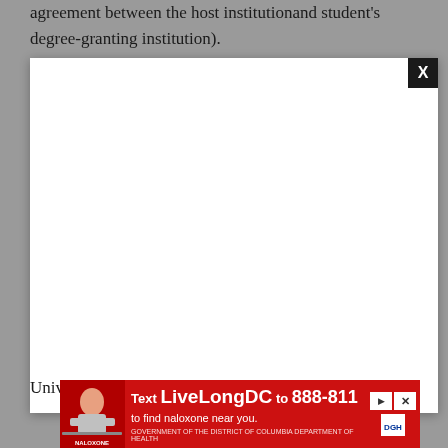agreement between the host institutionand student's degree-granting institution).
[Figure (other): White modal/popup overlay with a black X close button in the top-right corner, displayed over a gray background]
University of Alberta is now available. Appl
[Figure (other): Red advertisement banner: 'Text LiveLongDC to 888-811 to find naloxone near you.' with DGN logo and a photo of a person]